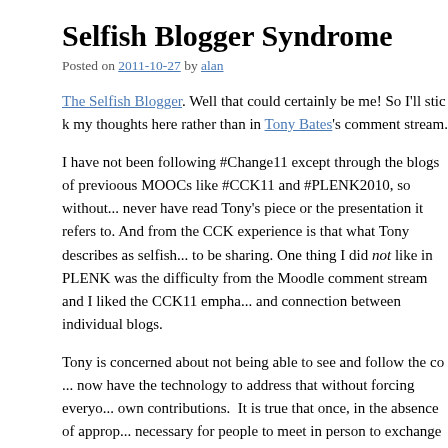Selfish Blogger Syndrome
Posted on 2011-10-27 by alan
The Selfish Blogger. Well that could certainly be me! So I'll stick my thoughts here rather than in Tony Bates's comment stream.
I have not been following #Change11 except through the blogs of others, from previoous MOOCs like #CCK11 and #PLENK2010, so without that I would never have read Tony's piece or the presentation it refers to. And what I got from the CCK experience is that what Tony describes as selfish bloggers seemed to be sharing. One thing I did not like in PLENK was the difficulty of separating from the Moodle comment stream and I liked the CCK11 empha... and connection between individual blogs.
Tony is concerned about not being able to see and follow the co... now have the technology to address that without forcing everyo... own contributions.  It is true that once, in the absence of approp... necessary for people to meet in person to exchange ideas. Then ... was needed was a common location for all the written material...